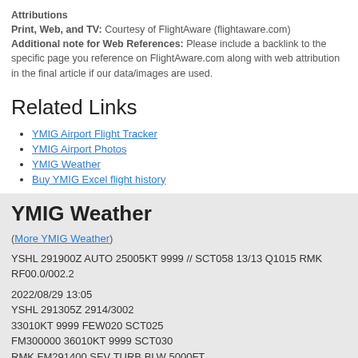Attributions
Print, Web, and TV: Courtesy of FlightAware (flightaware.com)
Additional note for Web References: Please include a backlink to the specific page you reference on FlightAware.com along with web attribution in the final article if our data/images are used.
Related Links
YMIG Airport Flight Tracker
YMIG Airport Photos
YMIG Weather
Buy YMIG Excel flight history
YMIG Weather
(More YMIG Weather)
YSHL 291900Z AUTO 25005KT 9999 // SCT058 13/13 Q1015 RMK RF00.0/002.2
2022/08/29 13:05
YSHL 291305Z 2914/3002
33010KT 9999 FEW020 SCT025
FM300000 36010KT 9999 SCT030
RMK FM291400 SEV TURB BLW 5000FT
T 14 13 13 19 Q 1018 1016 1015 1016